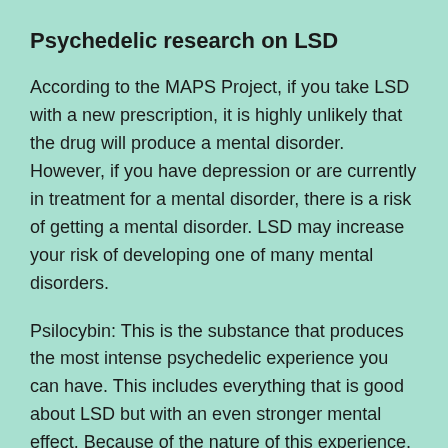Psychedelic research on LSD
According to the MAPS Project, if you take LSD with a new prescription, it is highly unlikely that the drug will produce a mental disorder. However, if you have depression or are currently in treatment for a mental disorder, there is a risk of getting a mental disorder. LSD may increase your risk of developing one of many mental disorders.
Psilocybin: This is the substance that produces the most intense psychedelic experience you can have. This includes everything that is good about LSD but with an even stronger mental effect. Because of the nature of this experience, it is called the psychedelic.
During this drug trip, you will see very vivid images. You will not see hallucinations during the positive mental